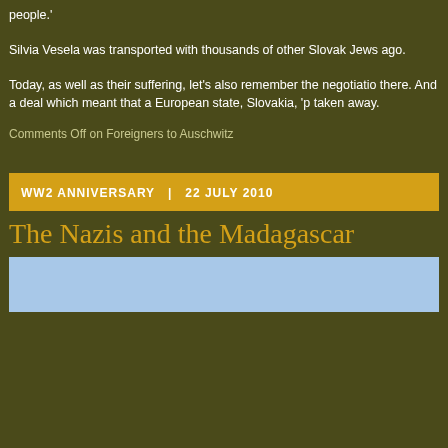people.'
Silvia Vesela was transported with thousands of other Slovak Jews ago.
Today, as well as their suffering, let's also remember the negotiatio there. And a deal which meant that a European state, Slovakia, 'p taken away.
Comments Off on Foreigners to Auschwitz
WW2 ANNIVERSARY  |  22 JULY 2010
The Nazis and the Madagascar
[Figure (photo): Light blue sky image partially visible]